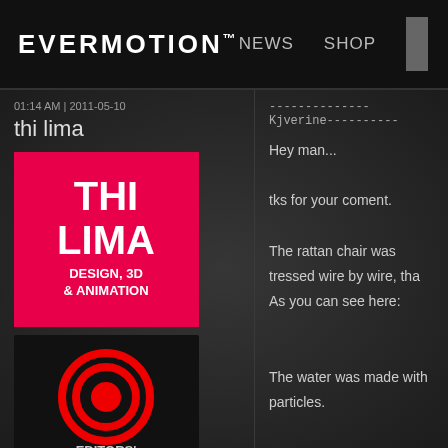EVERMOTION™  NEWS  SHOP
01:14 AM | 2011-05-10
thi lima
[Figure (logo): THI LIMA DESIGN, 3D & ANIMATION red badge logo]
[Figure (logo): EDITORS' CHOICE AWARD black badge with red target icon and Evermotion gold logo THE BEST OF EVERMOTION AWARD]
--------------Kjverine----------
Hey man...

tks for your coment.

The rattan chair was tressed wire by wire, tha
As you can see here:

The water was made with particles.

.......